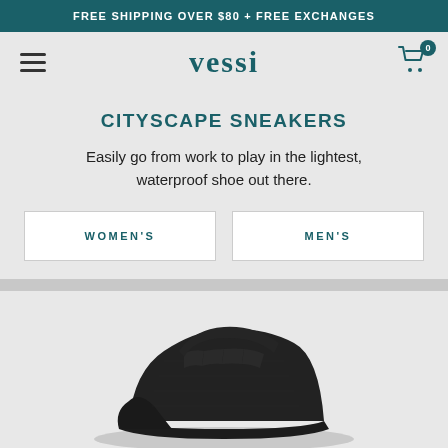FREE SHIPPING OVER $80 + FREE EXCHANGES
[Figure (logo): Vessi brand logo with hamburger menu and shopping cart icon with badge showing 0]
CITYSCAPE SNEAKERS
Easily go from work to play in the lightest, waterproof shoe out there.
WOMEN'S
MEN'S
[Figure (photo): Black knit sneaker (Vessi Cityscape) photographed from the side on a light grey background]